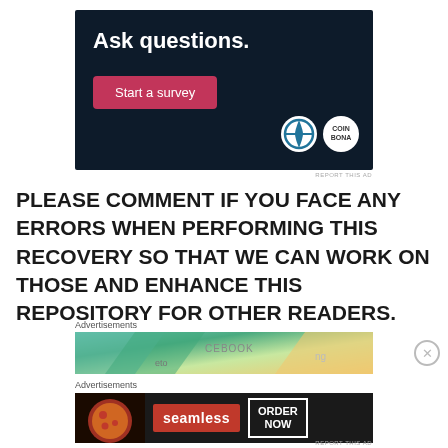[Figure (screenshot): Dark navy advertisement banner with text 'Ask questions.' and a pink 'Start a survey' button, plus WordPress and SurveyMonkey logos]
PLEASE COMMENT IF YOU FACE ANY ERRORS WHEN PERFORMING THIS RECOVERY SO THAT WE CAN WORK ON THOSE AND ENHANCE THIS REPOSITORY FOR OTHER READERS.
Advertisements
[Figure (screenshot): Colorful advertisement banner with partial text showing social media platform names]
Advertisements
[Figure (screenshot): Seamless food delivery advertisement with pizza image, Seamless logo, and ORDER NOW button on dark background]